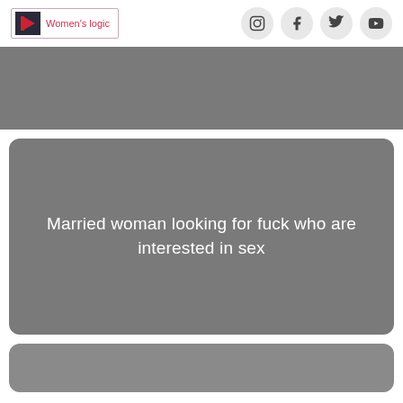Women's logic
[Figure (screenshot): Gray banner/advertisement block at top of page]
Married woman looking for fuck who are interested in sex
[Figure (screenshot): Gray banner/advertisement block at bottom of page]